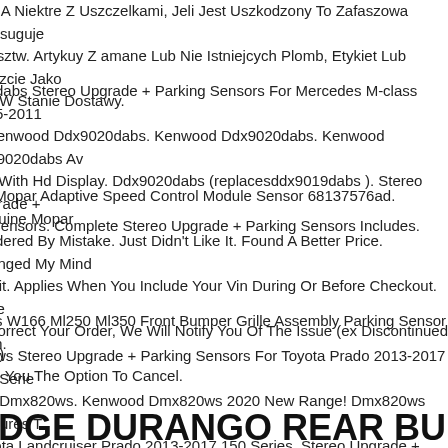cze, A Niektre Z Uszczelkami, Jeli Jest Uszkodzony To Zafaszowa Przysuguje t Kosztw. Artykuy Z amane Lub Nie Istniejcych Plomb, Etykiet Lub Pieczcie Jako ane W Stanie Dostawy.
020dabs Stereo Upgrade + Parking Sensors For Mercedes M-class 2005-2011 4. Kenwood Ddx9020dabs. Kenwood Ddx9020dabs. Kenwood Ddx9020dabs Av iver With Hd Display. Ddx9020dabs (replacesddx9019dabs ). Stereo Upgrade + ng Sensors. Complete Stereo Upgrade + Parking Sensors Includes.
ine Mopar Adaptive Speed Control Module Sensor 68137576ad. Genuine Mopar . Ordered By Mistake. Just Didn't Like It. Found A Better Price. Changed My Mind n't Fit. Applies When You Include Your Vin During Or Before Checkout. If We ot Correct Your Order, We Will Notify You Of The Issue (ex Discontinued Item) Give You The Option To Cancel.
edes W166 Ml250 Ml350 Front Bumper Grille Assembly Parking Sensor Oem.
820ws Stereo Upgrade + Parking Sensors For Toyota Prado 2013-2017 150 Serie ood Dmx820ws. Kenwood Dmx820ws 2020 New Range! Dmx820ws Features T Toyota Landcruiser Prado 2013-2017 150 Series. Stereo Upgrade + Parking ors. Complete Stereo Upgrade + Parking Sensors Includes.
ODGE DURANGO REAR BUMPER